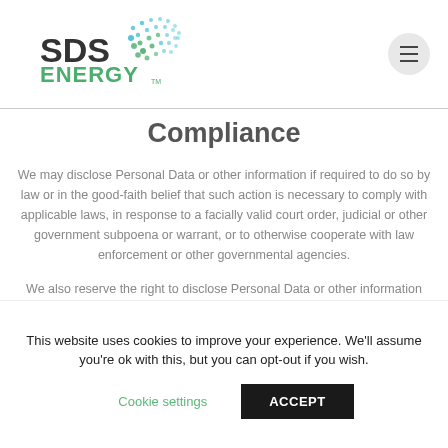[Figure (logo): SDS Energy logo with teal/blue dot pattern and company name]
Compliance
We may disclose Personal Data or other information if required to do so by law or in the good-faith belief that such action is necessary to comply with applicable laws, in response to a facially valid court order, judicial or other government subpoena or warrant, or to otherwise cooperate with law enforcement or other governmental agencies.
We also reserve the right to disclose Personal Data or other information that we believe, in good faith, is appropriate or
This website uses cookies to improve your experience. We'll assume you're ok with this, but you can opt-out if you wish.
Cookie settings   ACCEPT